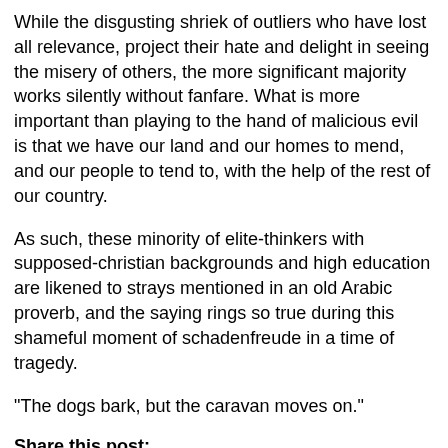While the disgusting shriek of outliers who have lost all relevance, project their hate and delight in seeing the misery of others, the more significant majority works silently without fanfare. What is more important than playing to the hand of malicious evil is that we have our land and our homes to mend, and our people to tend to, with the help of the rest of our country.
As such, these minority of elite-thinkers with supposed-christian backgrounds and high education are likened to strays mentioned in an old Arabic proverb, and the saying rings so true during this shameful moment of schadenfreude in a time of tragedy.
“The dogs bark, but the caravan moves on.”
Share this post:
[Figure (infographic): Social media share buttons: green Follow button with count 20, blue Like 1 Facebook button, blue Facebook Share button with count 20, blue Tweet button with count 20, and orange scroll-to-top circle button]